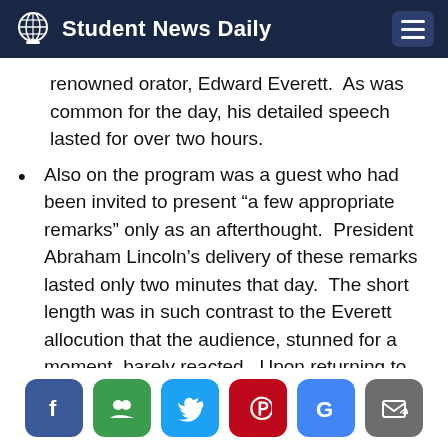Student News Daily
renowned orator, Edward Everett.  As was common for the day, his detailed speech lasted for over two hours.
Also on the program was a guest who had been invited to present “a few appropriate remarks” only as an afterthought.  President Abraham Lincoln’s delivery of these remarks lasted only two minutes that day.  The short length was in such contrast to the Everett allocution that the audience, stunned for a moment, barely reacted.  Upon returning to his seat Lincoln remarked to a friend: “That speech won’t scour. It is a flat failure.”  To the contrary,